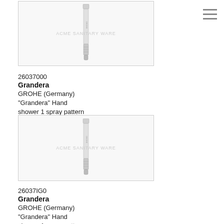[Figure (photo): GROHE Grandera hand shower product photo, slim chrome cylindrical design with single spray head, on white background with 'ACME SANITARY WARE' watermark]
26037000
Grandera
GROHE (Germany)
"Grandera" Hand shower 1 spray pattern
[Figure (photo): GROHE Grandera hand shower product photo (26037IG0), slim chrome cylindrical design with single spray head, on white background with 'ACME SANITARY WARE' watermark]
26037IG0
Grandera
GROHE (Germany)
"Grandera" Hand shower 1 spray pattern